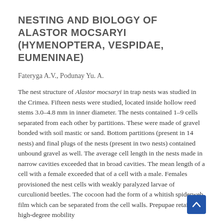NESTING AND BIOLOGY OF ALASTOR MOCSARYI (HYMENOPTERA, VESPIDAE, EUMENINAE)
Fateryga A.V., Podunay Yu. A.
The nest structure of Alastor mocsaryi in trap nests was studied in the Crimea. Fifteen nests were studied, located inside hollow reed stems 3.0–4.8 mm in inner diameter. The nests contained 1–9 cells separated from each other by partitions. These were made of gravel bonded with soil mastic or sand. Bottom partitions (present in 14 nests) and final plugs of the nests (present in two nests) contained unbound gravel as well. The average cell length in the nests made in narrow cavities exceeded that in broad cavities. The mean length of a cell with a female exceeded that of a cell with a male. Females provisioned the nest cells with weakly paralyzed larvae of curculionid beetles. The cocoon had the form of a whitish spiderweb film which can be separated from the cell walls. Prepupae retained high-degree mobility